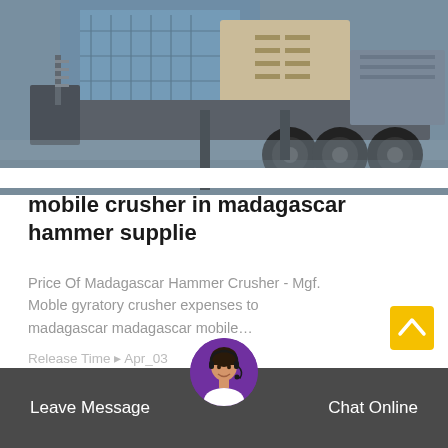[Figure (photo): Industrial mobile crusher machine on a wet concrete surface, with a large building in the background. The machine is gray and beige with large black wheels.]
mobile crusher in madagascar hammer supplie
Price Of Madagascar Hammer Crusher - Mgf. Moble gyratory crusher expenses to madagascar madagascar mobile…
Release Time ▸ Apr_03
[Figure (other): Yellow square scroll-to-top button with an upward chevron arrow icon.]
Leave Message  Chat Online